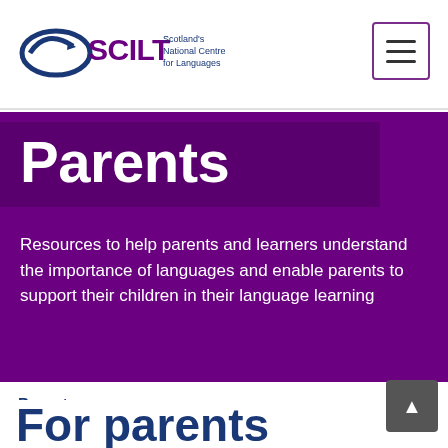[Figure (logo): SCILT - Scotland's National Centre for Languages logo with blue ellipse/arrow graphic]
[Figure (other): Hamburger menu button with three horizontal lines, purple border]
Parents
Resources to help parents and learners understand the importance of languages and enable parents to support their children in their language learning
Parents:
[Figure (other): Navigation arrow button '>' with purple border]
For parents